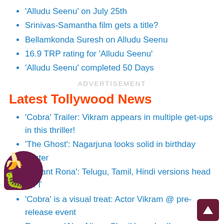'Alludu Seenu' on July 25th
Srinivas-Samantha film gets a title?
Bellamkonda Suresh on Alludu Seenu
16.9 TRP rating for 'Alludu Seenu'
'Alludu Seenu' completed 50 Days
ADVERTISEMENT
Latest Tollywood News
'Cobra' Trailer: Vikram appears in multiple get-ups in this thriller!
'The Ghost': Nagarjuna looks solid in birthday poster
'Vikrant Rona': Telugu, Tamil, Hindi versions head OTT
'Cobra' is a visual treat: Actor Vikram @ pre-release event
Rom-com 'Alaa Ninnu Cheri' launched!
Anasuya threatens to file cases against Vijay